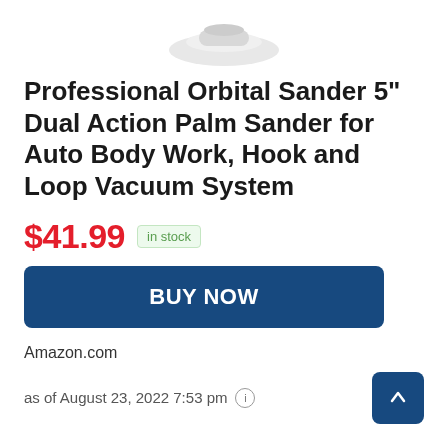[Figure (illustration): Partial product image of an orbital sander, white background, cropped at top]
Professional Orbital Sander 5" Dual Action Palm Sander for Auto Body Work, Hook and Loop Vacuum System
$41.99  in stock
BUY NOW
Amazon.com
as of August 23, 2022 7:53 pm